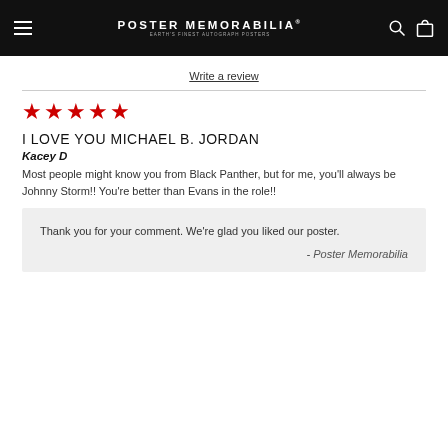POSTER MEMORABILIA
Write a review
[Figure (other): Five red stars rating]
I LOVE YOU MICHAEL B. JORDAN
Kacey D
Most people might know you from Black Panther, but for me, you'll always be Johnny Storm!! You're better than Evans in the role!!
Thank you for your comment. We're glad you liked our poster.
- Poster Memorabilia